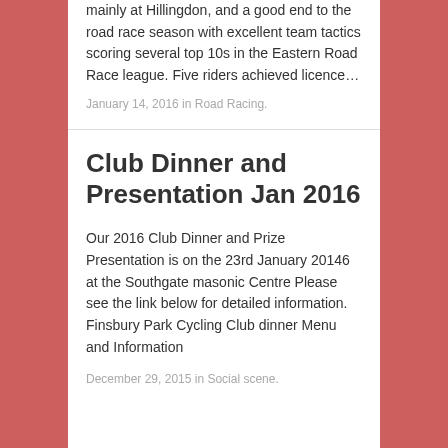mainly at Hillingdon, and a good end to the road race season with excellent team tactics scoring several top 10s in the Eastern Road Race league. Five riders achieved licence…
January 14, 2016 in Road Racing.
Club Dinner and Presentation Jan 2016
Our 2016 Club Dinner and Prize Presentation is on the 23rd January 20146 at the Southgate masonic Centre Please see the link below for detailed information. Finsbury Park Cycling Club dinner Menu and Information
December 29, 2015 in Social scene.